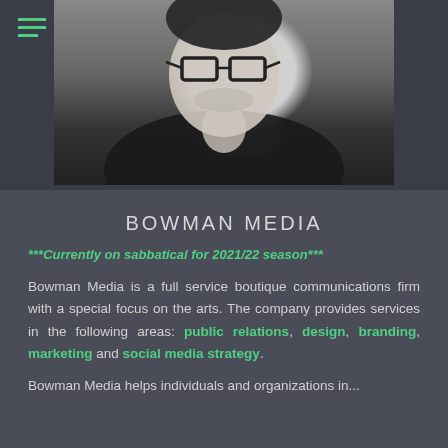[Figure (photo): Black and white portrait photograph of a woman wearing glasses, with a hamburger menu icon (three horizontal lines in teal/green) visible in the upper left corner over the image background.]
BOWMAN MEDIA
***Currently on sabbatical for 2021/22 season***
Bowman Media is a full service boutique communications firm with a special focus on the arts. The company provides services in the following areas: public relations, design, branding, marketing and social media strategy.
Bowman Media helps individuals and organizations in...